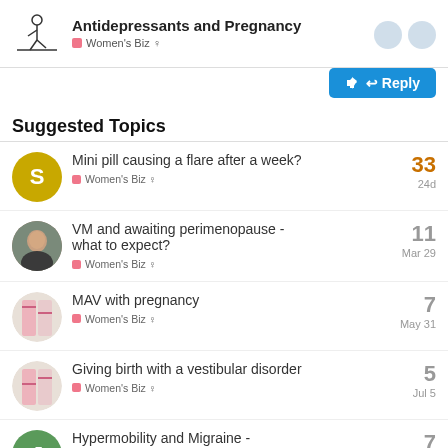Antidepressants and Pregnancy — Women's Biz ♀
Suggested Topics
Mini pill causing a flare after a week? — Women's Biz ♀ — 33 replies — 24d
VM and awaiting perimenopause - what to expect? — Women's Biz ♀ — 11 replies — Mar 29
MAV with pregnancy — Women's Biz ♀ — 7 replies — May 31
Giving birth with a vestibular disorder — Women's Biz ♀ — 5 replies — Jul 5
Hypermobility and Migraine - frequently co-morbid, rarely — 7 replies